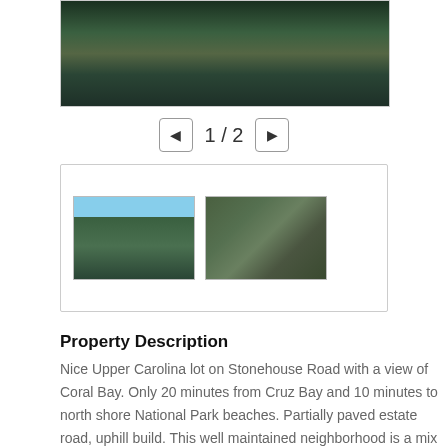[Figure (photo): Aerial or elevated view of Coral Bay, St. John with water, hills, and vegetation]
[Figure (infographic): Navigation control showing '1 / 2' with left and right arrow buttons]
[Figure (photo): Thumbnail gallery box with two small property photos side by side]
Property Description
Nice Upper Carolina lot on Stonehouse Road with a view of Coral Bay. Only 20 minutes from Cruz Bay and 10 minutes to north shore National Park beaches. Partially paved estate road, uphill build. This well maintained neighborhood is a mix of year round residents and vacation villas. Upper Carolina landowners have deeded beach rights to the HOA